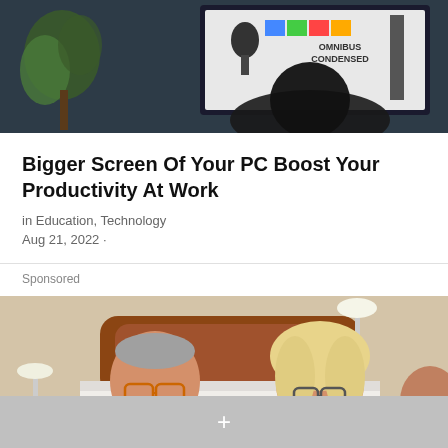[Figure (photo): Person sitting in front of a monitor displaying color test patterns and text 'OMNIBUS CONDENSED', with a plant and dark background]
Bigger Screen Of Your PC Boost Your Productivity At Work
in Education, Technology
Aug 21, 2022 ·
Sponsored
[Figure (photo): An older man with glasses and an older woman with blonde hair and glasses sitting in front of a wooden bed headboard in a bedroom]
[Figure (other): Gray bottom bar with a white plus (+) icon]